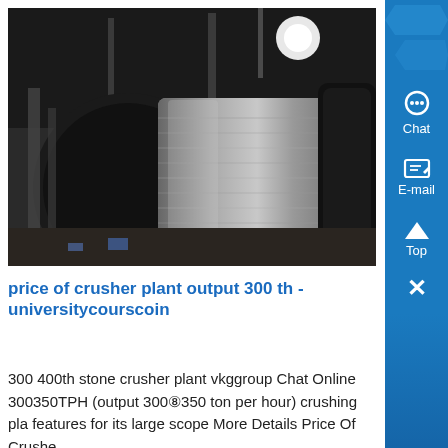[Figure (photo): Industrial crusher plant machinery showing a large cylindrical metal roller/drum component in a factory setting]
price of crusher plant output 300 th - universitycourscoin
300 400th stone crusher plant vkggroup Chat Online 300350TPH (output 300⑧350 ton per hour) crushing plant features for its large scope More Details Price Of Crushe